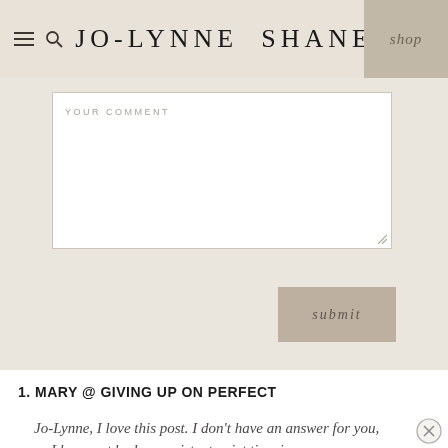JO-LYNNE SHANE
[Figure (screenshot): Comment form textarea with label YOUR COMMENT and a resize handle, on a beige background]
[Figure (other): Submit button with italic text 'submit' on a tan/beige background]
1. MARY @ GIVING UP ON PERFECT
Jo-Lynne, I love this post. I don't have an answer for you, as I have not had a consistent quiet time in my